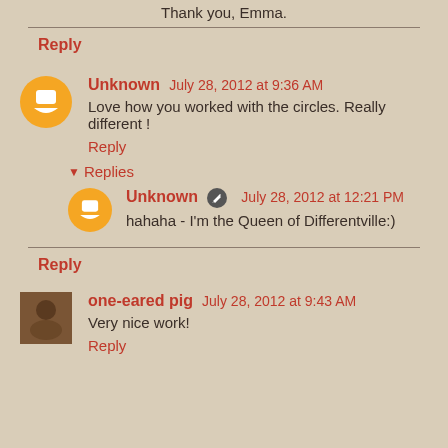Thank you, Emma.
Reply
Unknown  July 28, 2012 at 9:36 AM
Love how you worked with the circles. Really different !
Reply
▾  Replies
Unknown  July 28, 2012 at 12:21 PM
hahaha - I'm the Queen of Differentville:)
Reply
one-eared pig  July 28, 2012 at 9:43 AM
Very nice work!
Reply